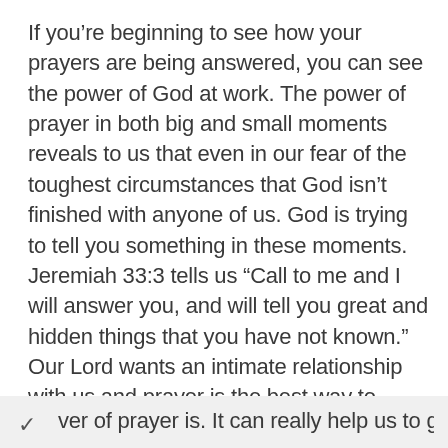If you're beginning to see how your prayers are being answered, you can see the power of God at work. The power of prayer in both big and small moments reveals to us that even in our fear of the toughest circumstances that God isn't finished with anyone of us. God is trying to tell you something in these moments. Jeremiah 33:3 tells us “Call to me and I will answer you, and will tell you great and hidden things that you have not known.” Our Lord wants an intimate relationship with us and prayer is the best way to communicate with God. He wants us to actively call on Him so that He can answer our prayers. Never underestimate how real the ver of prayer is. It can really help us to grow